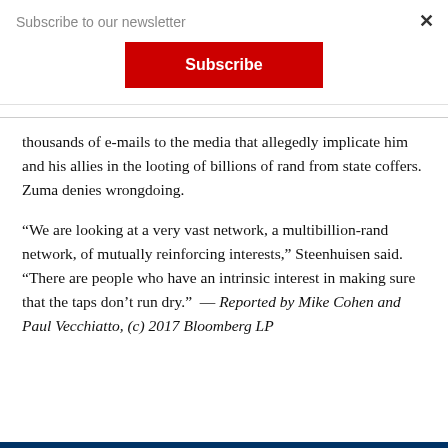Subscribe to our newsletter
thousands of e-mails to the media that allegedly implicate him and his allies in the looting of billions of rand from state coffers. Zuma denies wrongdoing.
“We are looking at a very vast network, a multibillion-rand network, of mutually reinforcing interests,” Steenhuisen said. “There are people who have an intrinsic interest in making sure that the taps don’t run dry.”  — Reported by Mike Cohen and Paul Vecchiatto, (c) 2017 Bloomberg LP